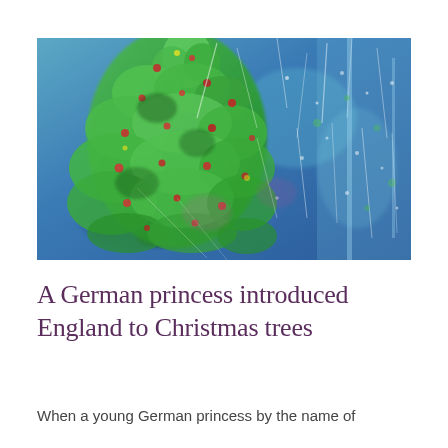[Figure (illustration): An impressionistic painting of a Christmas tree with vibrant green foliage and red berry-like dots, set against a blue and teal background with white scratch-like marks suggesting snow or stars.]
A German princess introduced England to Christmas trees
When a young German princess by the name of